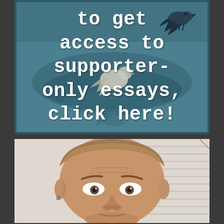[Figure (photo): Photo with teal/blue-tinted background showing birds near water, overlaid with white typewriter-font text reading 'to get access to supporter-only essays, click here!' on a dark teal background with dark border]
[Figure (photo): Selfie photo of a middle-aged man with short hair, looking at camera with slightly raised eyebrows, indoor setting with horizontal lines visible in background]